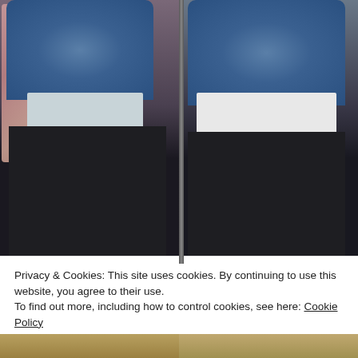[Figure (photo): Two side-by-side photos of a person wearing black leggings and a denim jacket with a white shirt. Left photo shows front view with floral scarf; right photo shows back view.]
Privacy & Cookies: This site uses cookies. By continuing to use this website, you agree to their use.
To find out more, including how to control cookies, see here: Cookie Policy
Close and accept
[Figure (photo): Partial bottom strip showing another photo, cut off at the bottom of the page.]